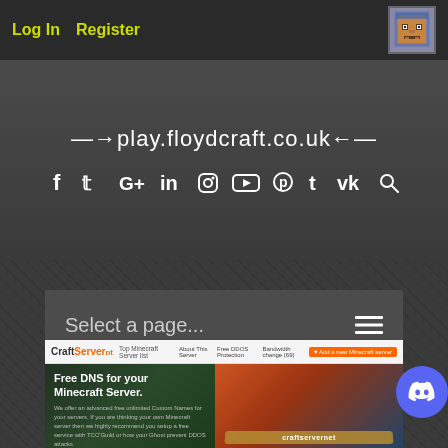Log In   Register
→play.floydcraft.co.uk←
[Figure (infographic): Row of social media icons: Facebook, Twitter, Google+, LinkedIn, Instagram, YouTube, Pinterest, Tumblr, VK, Search]
Select a page...
Show sidebar...
[Figure (screenshot): CraftServer banner ad showing 'Free DNS for your Minecraft Server.' with navigation bar and Minecraft-themed imagery]